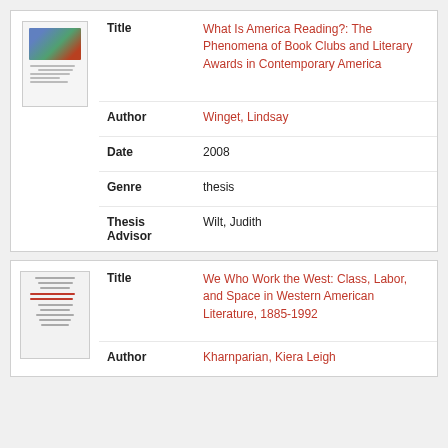| Field | Value |
| --- | --- |
| Title | What Is America Reading?: The Phenomena of Book Clubs and Literary Awards in Contemporary America |
| Author | Winget, Lindsay |
| Date | 2008 |
| Genre | thesis |
| Thesis Advisor | Wilt, Judith |
| Field | Value |
| --- | --- |
| Title | We Who Work the West: Class, Labor, and Space in Western American Literature, 1885-1992 |
| Author | Kharnparian, Kiera Leigh |